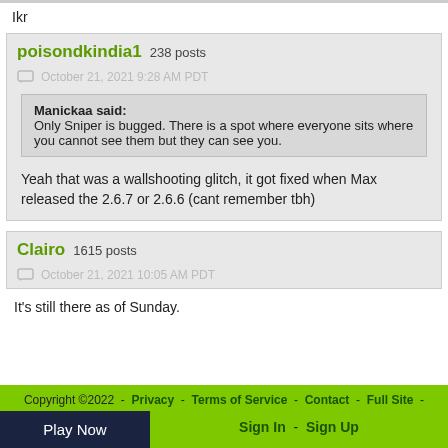Ikr
poisondkindia1  238 posts
October 21, 2021 9:28 AM PDT
Manickaa said: Only Sniper is bugged. There is a spot where everyone sits where you cannot see them but they can see you.
Yeah that was a wallshooting glitch, it got fixed when Max released the 2.6.7 or 2.6.6 (cant remember tbh)
Clairo  1615 posts
October 21, 2021 10:05 AM PDT
It's still there as of Sunday.
Copyright ©2022 - Privacy - Terms of Service - Contact - Full Site - Sign In - Sign Up